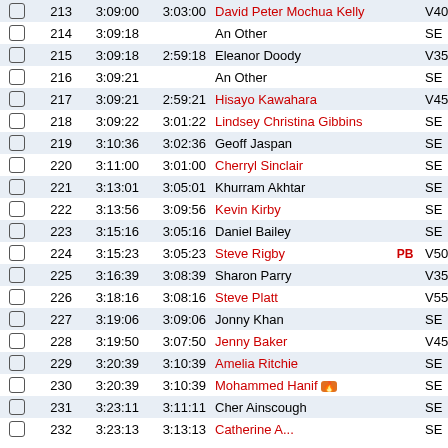|  | # | Time | Chip | Name | PB | Cat |
| --- | --- | --- | --- | --- | --- | --- |
|  | 213 | 3:09:00 | 3:03:00 | David Peter Mochua Kelly |  | V40 |
|  | 214 | 3:09:18 |  | An Other |  | SE |
|  | 215 | 3:09:18 | 2:59:18 | Eleanor Doody |  | V35 |
|  | 216 | 3:09:21 |  | An Other |  | SE |
|  | 217 | 3:09:21 | 2:59:21 | Hisayo Kawahara |  | V45 |
|  | 218 | 3:09:22 | 3:01:22 | Lindsey Christina Gibbins |  | SE |
|  | 219 | 3:10:36 | 3:02:36 | Geoff Jaspan |  | SE |
|  | 220 | 3:11:00 | 3:01:00 | Cherryl Sinclair |  | SE |
|  | 221 | 3:13:01 | 3:05:01 | Khurram Akhtar |  | SE |
|  | 222 | 3:13:56 | 3:09:56 | Kevin Kirby |  | SE |
|  | 223 | 3:15:16 | 3:05:16 | Daniel Bailey |  | SE |
|  | 224 | 3:15:23 | 3:05:23 | Steve Rigby | PB | V50 |
|  | 225 | 3:16:39 | 3:08:39 | Sharon Parry |  | V35 |
|  | 226 | 3:18:16 | 3:08:16 | Steve Platt |  | V55 |
|  | 227 | 3:19:06 | 3:09:06 | Jonny Khan |  | SE |
|  | 228 | 3:19:50 | 3:07:50 | Jenny Baker |  | V45 |
|  | 229 | 3:20:39 | 3:10:39 | Amelia Ritchie |  | SE |
|  | 230 | 3:20:39 | 3:10:39 | Mohammed Hanif 🔥 |  | SE |
|  | 231 | 3:23:11 | 3:11:11 | Cher Ainscough |  | SE |
|  | 232 | 3:23:13 | 3:13:13 | Catherine A... |  | SE |